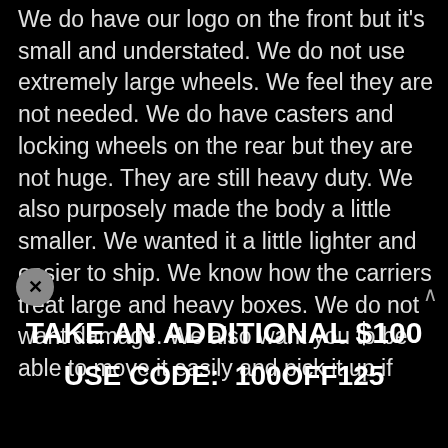We do have our logo on the front but it's small and understated. We do not use extremely large wheels. We feel they are not needed. We do have casters and locking wheels on the rear but they are not huge. They are still heavy duty. We also purposely made the body a little smaller. We wanted it a little lighter and easier to ship. We know how the carriers treat large and heavy boxes. We do not want damage. We also want you to be able to move it easily and pick it up if
TAKE AN ADDITIONAL $100
USE CODE:  100OFF125